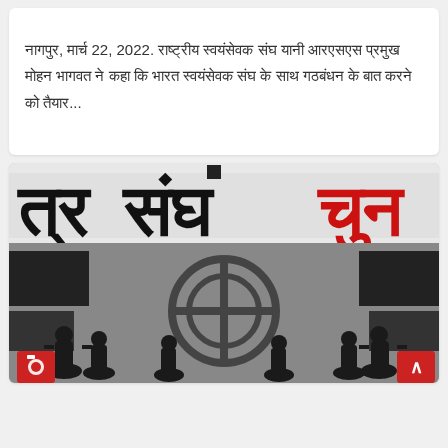नागपुर, मार्च 22, 2022. राष्ट्रीय स्वयंसेवक संघ यानी आरएसएस प्रमुख मोहन भागवत ने कहा कि भारत स्वयंसेवक संघ के साथ गठबंधन के बात करने को तैयार...
[Figure (photo): A black and white protest image with Hindi text reading 'sangh chunav' (संघ चुनाव), showing silhouettes of people holding flags, with a circular logo symbol in the center. Some text appears in red color.]